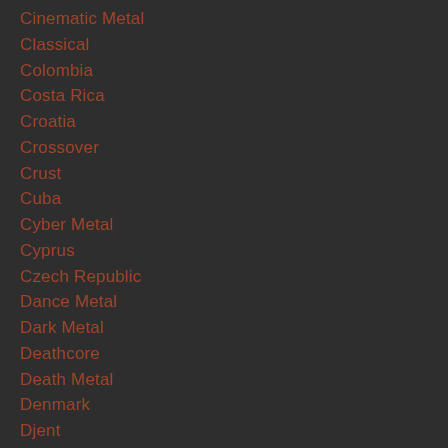Cinematic Metal
Classical
Colombia
Costa Rica
Croatia
Crossover
Crust
Cuba
Cyber Metal
Cyprus
Czech Republic
Dance Metal
Dark Metal
Deathcore
Death Metal
Denmark
Djent
Djentcore
Documentary
Dominican Republic
Doom Metal